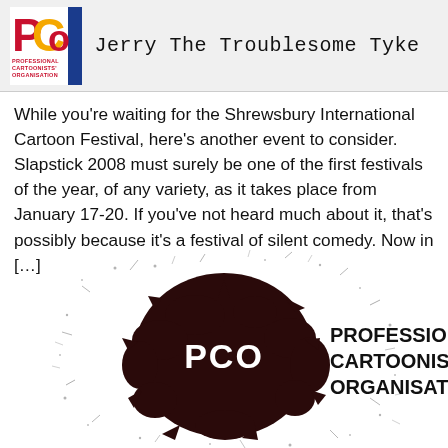Jerry The Troublesome Tyke
[Figure (logo): Professional Cartoonists Organisation logo - red and yellow PCO letters with blue stripe]
While you’re waiting for the Shrewsbury International Cartoon Festival, here’s another event to consider. Slapstick 2008 must surely be one of the first festivals of the year, of any variety, as it takes place from January 17-20. If you’ve not heard much about it, that’s possibly because it’s a festival of silent comedy. Now in […]
[Figure (logo): Professional Cartoonists Organisation ink splat logo with PCO text and full name PROFESSIONAL CARTOONISTS' ORGANISATION]